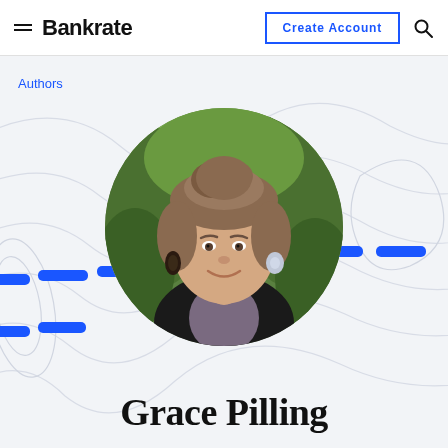Bankrate | Create Account
Authors
[Figure (photo): Circular profile photo of Grace Pilling, a woman smiling with short hair pulled up, wearing dark earrings and a black cardigan, outdoors with green foliage background]
Grace Pilling